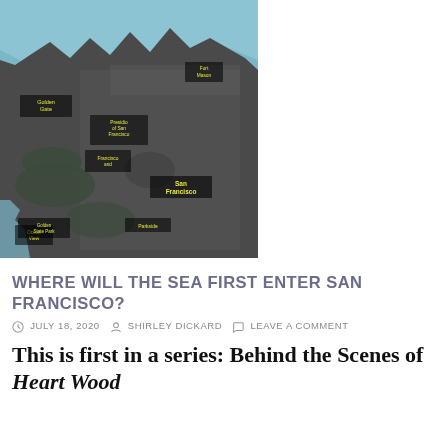[Figure (map): Aerial/satellite map of San Francisco showing the peninsula from above, with bay waters visible to the north and east. Map labels include Golden Gate, Presidio of San Francisco, Francisco, Ocean, Golden Gate Park, Parkside, and San Francisco in the center.]
WHERE WILL THE SEA FIRST ENTER SAN FRANCISCO?
JULY 18, 2020   SHIRLEY DICKARD   LEAVE A COMMENT
This is first in a series: Behind the Scenes of Heart Wood